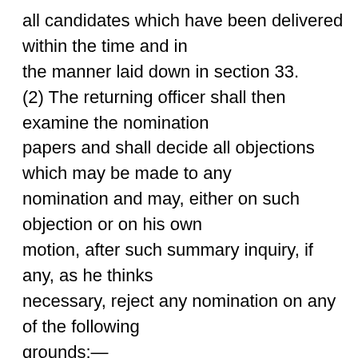all candidates which have been delivered within the time and in the manner laid down in section 33. (2) The returning officer shall then examine the nomination papers and shall decide all objections which may be made to any nomination and may, either on such objection or on his own motion, after such summary inquiry, if any, as he thinks necessary, reject any nomination on any of the following grounds:— (a) that on the date fixed for the scrutiny of nominations the candidate either is not qualified or is disqualified for being chosen to fill the seat under any of the following provisions that may be applicable, namely: Articles 84, 102, 173 and